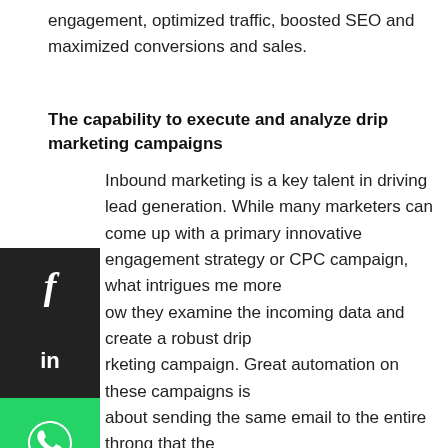engagement, optimized traffic, boosted SEO and maximized conversions and sales.
The capability to execute and analyze drip marketing campaigns
Inbound marketing is a key talent in driving lead generation. While many marketers can come up with a primary innovative engagement strategy or CPC campaign, what intrigues me more how they examine the incoming data and create a robust drip rketing campaign. Great automation on these campaigns is about sending the same email to the entire throng that the paign gathers. It is all about personal, well-written munication that varies depending on the actions omplished seven emails deep into the campaign. That is a lot ariation and does require an analytical mindset and strategic thinking. Exceptional marketing occurs when the art of communication expands upon the fundamental science of conversion.